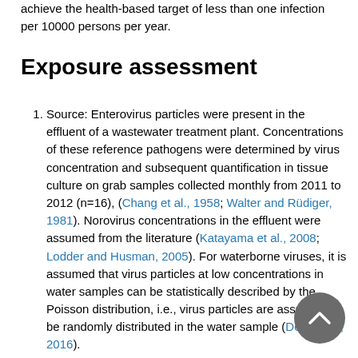achieve the health-based target of less than one infection per 10000 persons per year.
Exposure assessment
Source: Enterovirus particles were present in the effluent of a wastewater treatment plant. Concentrations of these reference pathogens were determined by virus concentration and subsequent quantification in tissue culture on grab samples collected monthly from 2011 to 2012 (n=16), (Chang et al., 1958; Walter and Rüdiger, 1981). Norovirus concentrations in the effluent were assumed from the literature (Katayama et al., 2008; Lodder and Husman, 2005). For waterborne viruses, it is assumed that virus particles at low concentrations in water samples can be statistically described by the Poisson distribution, i.e., virus particles are assumed to be randomly distributed in the water sample (Derx et al., 2016).
Barriers/Controls: The treatment barriers consist of the BRF system and further disinfection. As controls, the